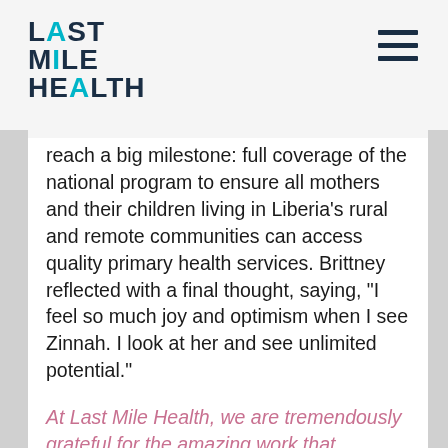LAST MILE HEALTH
reach a big milestone: full coverage of the national program to ensure all mothers and their children living in Liberia’s rural and remote communities can access quality primary health services. Brittney reflected with a final thought, saying, “I feel so much joy and optimism when I see Zinnah. I look at her and see unlimited potential.”
At Last Mile Health, we are tremendously grateful for the amazing work that mothers like Brittney, Farzee, and Ellen are doing to ensure that all children in Liberia can pursue their unlimited potential.